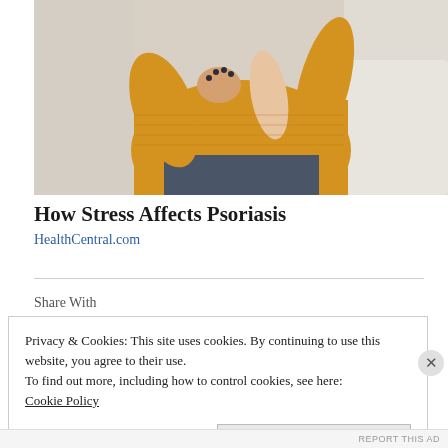[Figure (photo): A woman in a yellow knitted sweater sitting on a sofa, scratching or examining her elbow/arm, with beige cushions around her.]
How Stress Affects Psoriasis
HealthCentral.com
Share With
Privacy & Cookies: This site uses cookies. By continuing to use this website, you agree to their use.
To find out more, including how to control cookies, see here:
Cookie Policy
Close and accept